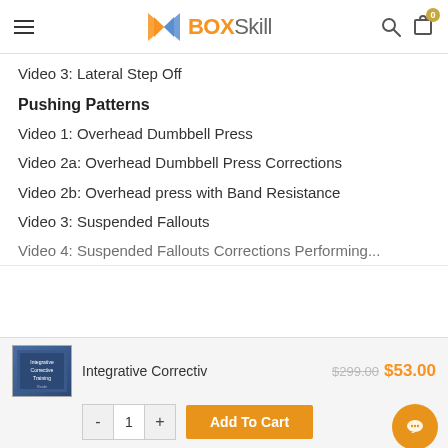BOXSkill
Video 3: Lateral Step Off
Pushing Patterns
Video 1: Overhead Dumbbell Press
Video 2a: Overhead Dumbbell Press Corrections
Video 2b: Overhead press with Band Resistance
Video 3: Suspended Fallouts
Video 4: Suspended Fallouts Corrections Performing...
Integrative Correctiv  $299.00  $53.00
- 1 +  Add To Cart